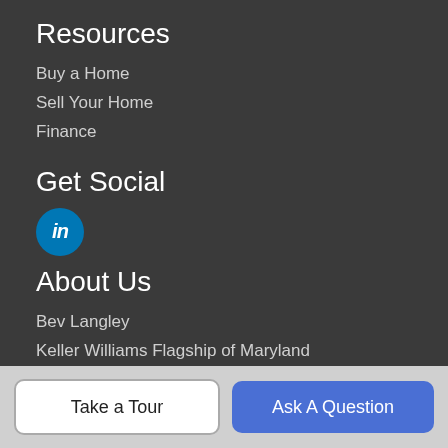Resources
Buy a Home
Sell Your Home
Finance
Get Social
[Figure (logo): LinkedIn icon — blue circle with white 'in' text]
About Us
Bev Langley
Keller Williams Flagship of Maryland
231 Najoles Road, Millersville, MD 21108
Direct: 410-320-0282
Office: 410-729-7700
Take a Tour
Ask A Question